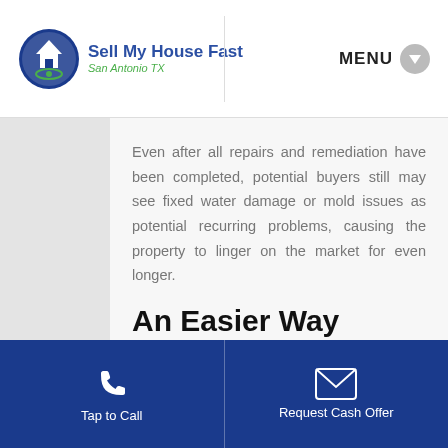Sell My House Fast San Antonio TX | MENU
Even after all repairs and remediation have been completed, potential buyers still may see fixed water damage or mold issues as potential recurring problems, causing the property to linger on the market for even longer.
An Easier Way
The best solution is one that gets you
Tap to Call | Request Cash Offer